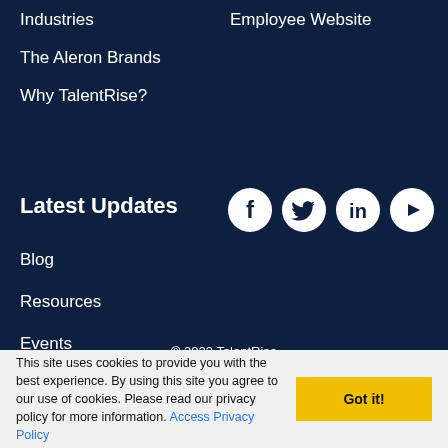Industries
Employee Website
The Aleron Brands
Why TalentRise?
Latest Updates
[Figure (infographic): Social media icons: Facebook, Twitter, LinkedIn, YouTube]
Blog
Resources
Events
© 2022 TalentRise
EEO Policy   Privacy Policy   Terms of Use
This site uses cookies to provide you with the best experience. By using this site you agree to our use of cookies. Please read our privacy policy for more information. Access Privacy Policy